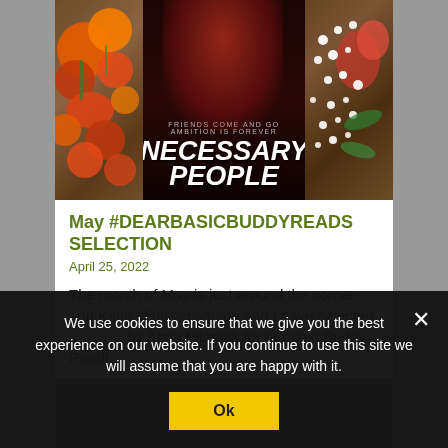[Figure (photo): Book cover of 'Necessary People' by Anna Pitoniak, surrounded by orange and white flowers on a wooden surface]
May #DEARBASICBUDDYREADS SELECTION
April 25, 2022
The month of May is just around the corner, and Katie @basicbsguide and I have selected by Anna Pitoniak for our next Buddy Read!
We use cookies to ensure that we give you the best experience on our website. If you continue to use this site we will assume that you are happy with it.